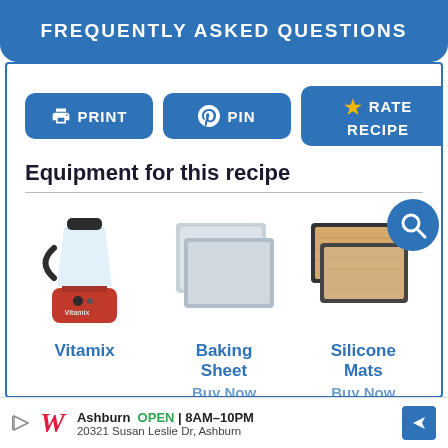FREQUENTLY ASKED QUESTIONS
PRINT   PIN   RATE RECIPE
Equipment for this recipe
[Figure (photo): Three kitchen equipment items: Vitamix blender (red), Baking Sheet (silver), and Silicone Mats (tan/beige with dark border). A blue search icon circle overlaps the top right of the equipment area.]
Vitamix   Baking Sheet   Silicone Mats
Buy Now   Buy Now
Ashburn  OPEN | 8AM–10PM  20321 Susan Leslie Dr, Ashburn